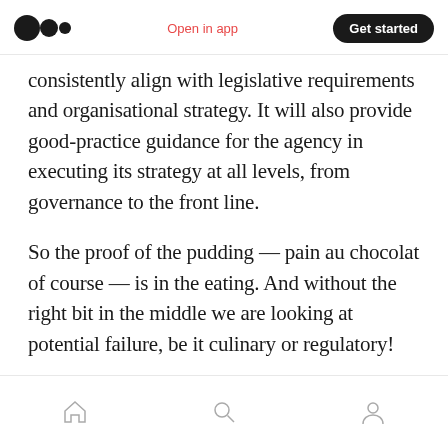Medium logo | Open in app | Get started
consistently align with legislative requirements and organisational strategy. It will also provide good-practice guidance for the agency in executing its strategy at all levels, from governance to the front line.
So the proof of the pudding — pain au chocolat of course — is in the eating. And without the right bit in the middle we are looking at potential failure, be it culinary or regulatory!
. . .
Home | Search | Profile